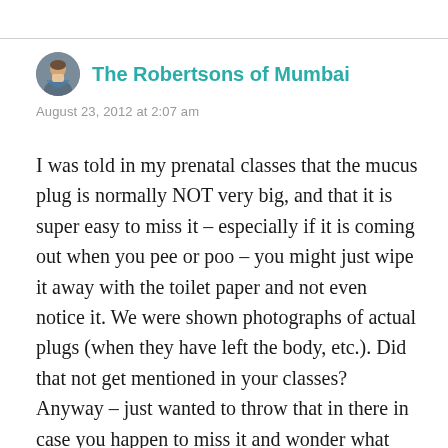The Robertsons of Mumbai
August 23, 2012 at 2:07 am
I was told in my prenatal classes that the mucus plug is normally NOT very big, and that it is super easy to miss it – especially if it is coming out when you pee or poo – you might just wipe it away with the toilet paper and not even notice it. We were shown photographs of actual plugs (when they have left the body, etc.). Did that not get mentioned in your classes? Anyway – just wanted to throw that in there in case you happen to miss it and wonder what happened! I'm going to be looking at the